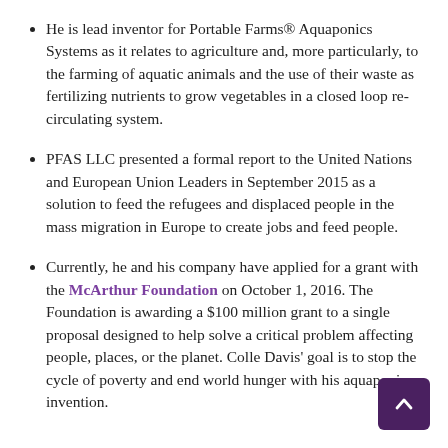He is lead inventor for Portable Farms® Aquaponics Systems as it relates to agriculture and, more particularly, to the farming of aquatic animals and the use of their waste as fertilizing nutrients to grow vegetables in a closed loop re-circulating system.
PFAS LLC presented a formal report to the United Nations and European Union Leaders in September 2015 as a solution to feed the refugees and displaced people in the mass migration in Europe to create jobs and feed people.
Currently, he and his company have applied for a grant with the McArthur Foundation on October 1, 2016. The Foundation is awarding a $100 million grant to a single proposal designed to help solve a critical problem affecting people, places, or the planet. Colle Davis' goal is to stop the cycle of poverty and end world hunger with his aquaponics invention.